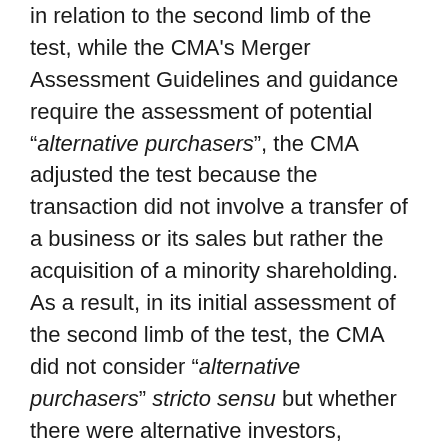in relation to the second limb of the test, while the CMA's Merger Assessment Guidelines and guidance require the assessment of potential "alternative purchasers", the CMA adjusted the test because the transaction did not involve a transfer of a business or its sales but rather the acquisition of a minority shareholding. As a result, in its initial assessment of the second limb of the test, the CMA did not consider "alternative purchasers" stricto sensu but whether there were alternative investors, including funding that would have not entailed that acquisition of shares (as Amazon's investment in Deliveroo contemplated). In particular, it considered three main options for alternative funding: funding from existing shareholders, external funding from new shareholders, and funding through debt. In the